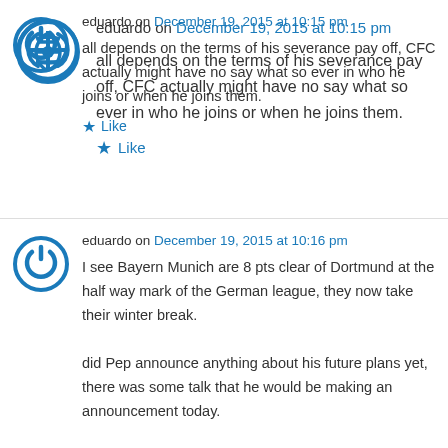eduardo on December 19, 2015 at 10:15 pm
all depends on the terms of his severance pay off, CFC actually might have no say what so ever in who he joins or when he joins them.
Like
eduardo on December 19, 2015 at 10:16 pm
I see Bayern Munich are 8 pts clear of Dortmund at the half way mark of the German league, they now take their winter break.
did Pep announce anything about his future plans yet, there was some talk that he would be making an announcement today.